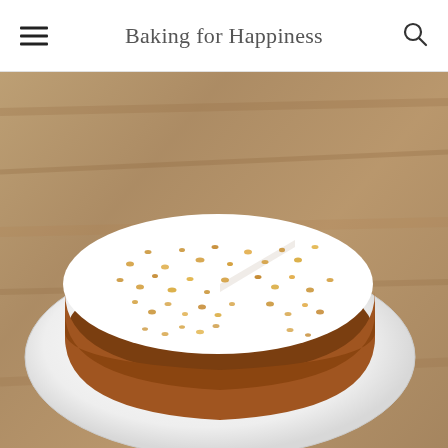Baking for Happiness
[Figure (photo): A round carrot cake with white cream cheese frosting topped with chopped nuts, with one slice partially removed, served on a white plate on a wooden surface.]